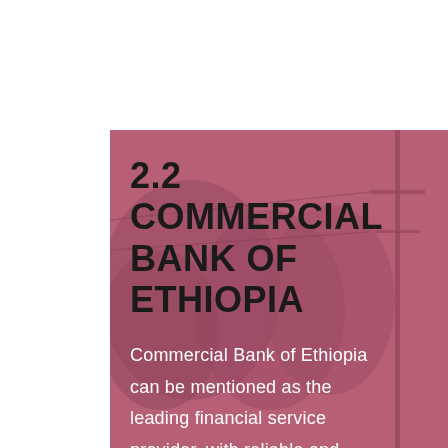[Figure (photo): A pinkish-red/mauve tinted background panel showing trees and utility poles through a color overlay, covering the lower right portion of the page.]
2.2 COMMERCIAL BANK OF ETHIOPIA
Commercial Bank of Ethiopia can be mentioned as the leading financial service provider, with reliable and